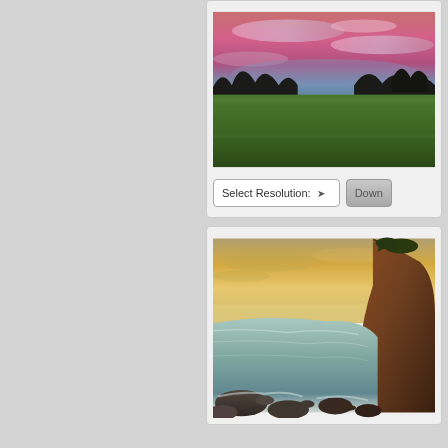[Figure (photo): Landscape photo showing green fields under a dramatic purple-pink sunset sky with dark silhouetted trees on the horizon]
Select Resolution: ▾  Down...
[Figure (photo): Coastal photo showing rocky shoreline with glowing orange-golden sunset sky reflected on calm water, large cliff on the right]